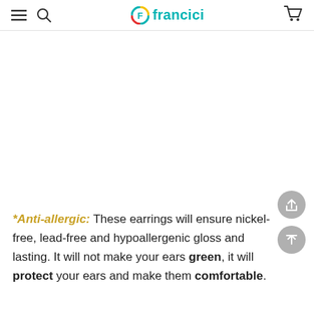francici
*Anti-allergic: These earrings will ensure nickel-free, lead-free and hypoallergenic gloss and lasting. It will not make your ears green, it will protect your ears and make them comfortable.